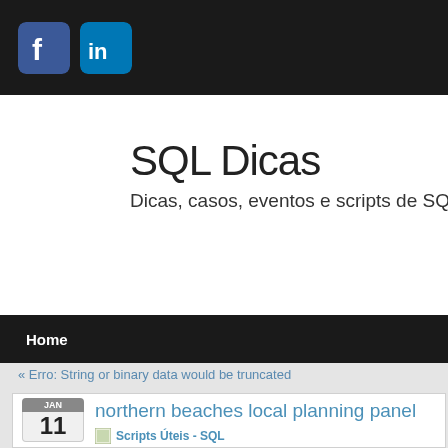SQL Dicas – Facebook and LinkedIn social icons in top navigation bar
SQL Dicas
Dicas, casos, eventos e scripts de SQL Se
Home
« Erro: String or binary data would be truncated
northern beaches local planning panel
Scripts Úteis - SQL
Share
If you wish to address the panel, or listen to a panel meeting, you must register...